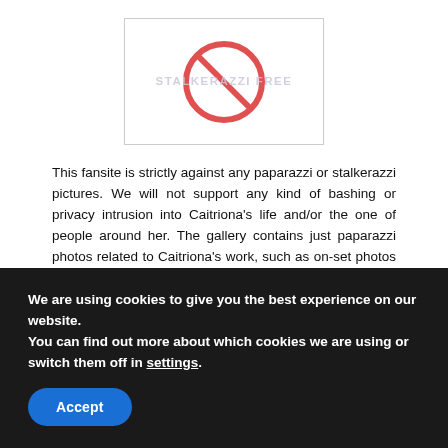[Figure (logo): STALKERAZZI FREE logo with a red circle-slash (no sign) symbol over the text STALKERAZZI FREE, inside a rectangular border]
This fansite is strictly against any paparazzi or stalkerazzi pictures. We will not support any kind of bashing or privacy intrusion into Caitriona's life and/or the one of people around her. The gallery contains just paparazzi photos related to Caitriona's work, such as on-set photos and promotional related (arriving or leaving TV Shows…).
We are using cookies to give you the best experience on our website.
You can find out more about which cookies we are using or switch them off in settings.
Accept